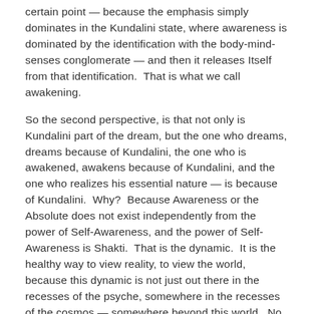certain point — because the emphasis simply dominates in the Kundalini state, where awareness is dominated by the identification with the body-mind-senses conglomerate — and then it releases Itself from that identification.  That is what we call awakening.
So the second perspective, is that not only is Kundalini part of the dream, but the one who dreams, dreams because of Kundalini, the one who is awakened, awakens because of Kundalini, and the one who realizes his essential nature — is because of Kundalini.  Why?  Because Awareness or the Absolute does not exist independently from the power of Self-Awareness, and the power of Self-Awareness is Shakti.  That is the dynamic.  It is the healthy way to view reality, to view the world, because this dynamic is not just out there in the recesses of the psyche, somewhere in the recesses of the cosmos — somewhere beyond this world.  No, this dynamic of Awareness and its own inherent power as Self-Awareness exists at every structure of the universe — on the subatomic level, on the atomic level, on the level of particles, of molecules and atoms, cell...